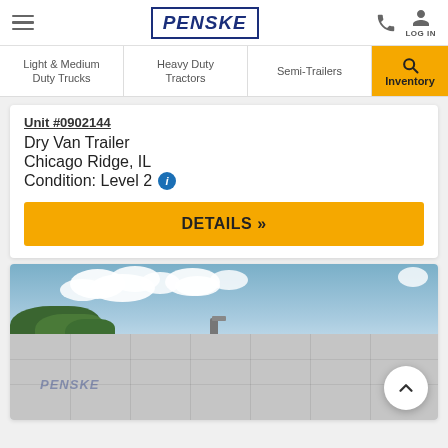PENSKE
Light & Medium Duty Trucks | Heavy Duty Tractors | Semi-Trailers | Inventory
Unit #0902144
Dry Van Trailer
Chicago Ridge, IL
Condition: Level 2
DETAILS »
[Figure (photo): Penske dry van trailer photographed from the side, showing the white trailer box with blue Penske logo against a partly cloudy sky with trees in the background.]